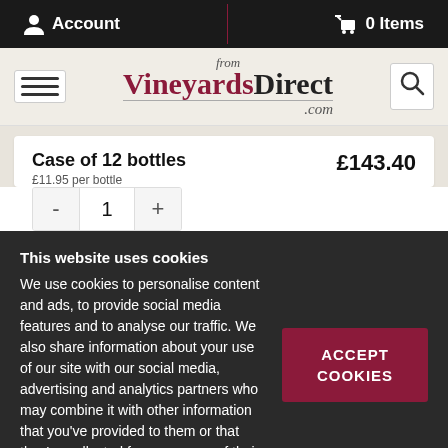Account | 0 Items
[Figure (logo): from VineyardsDirect.com logo with hamburger menu and search icon]
Case of 12 bottles £11.95 per bottle £143.40
- 1 +
This website uses cookies
We use cookies to personalise content and ads, to provide social media features and to analyse our traffic. We also share information about your use of our site with our social media, advertising and analytics partners who may combine it with other information that you've provided to them or that they've collected from your use of their services.
ACCEPT COOKIES